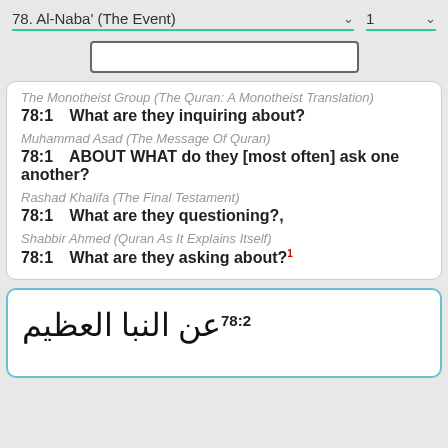78. Al-Naba' (The Event) | 1
The Monotheist Group (The Quran: A Monotheist Translation)
78:1   What are they inquiring about?
Muhammad Asad (The Message Of Quran)
78:1   ABOUT WHAT do they [most often] ask one another?
Rashad Khalifa (The Final Testament)
78:1   What are they questioning?,
Shabbir Ahmed (Quran As It Explains Itself)
78:1   What are they asking about?¹
78:2  عن النبا العظيم